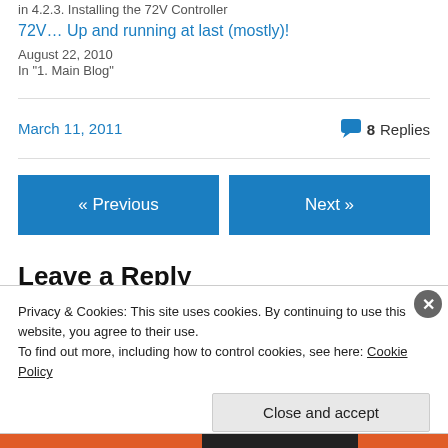in 4.2.3. Installing the 72V Controller
72V... Up and running at last (mostly)!
August 22, 2010
In "1. Main Blog"
March 11, 2011
💬 8 Replies
« Previous
Next »
Leave a Reply
Privacy & Cookies: This site uses cookies. By continuing to use this website, you agree to their use.
To find out more, including how to control cookies, see here: Cookie Policy
Close and accept